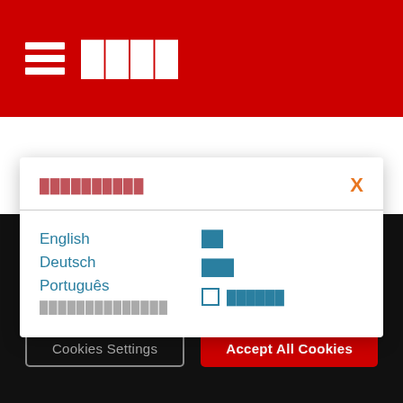≡ ████
██████████
English
Deutsch
Português
██████████████
██
███
☐ ██████
June 24, 2021
We use cookies to personalize content and ads, to provide social media features and to analyze our traffic. We also share information about your use of our site with our social media, advertising and analytics partners.
Cookies Settings
Accept All Cookies